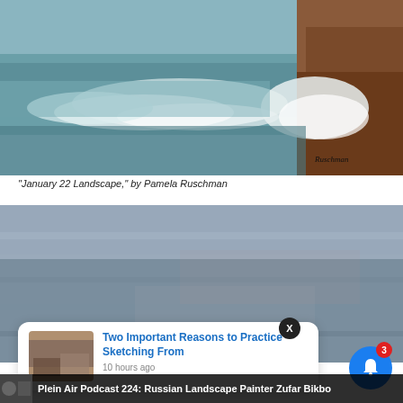[Figure (photo): Oil painting of a coastal landscape with waves crashing on rocks, blue-green sea and brown rocky cliff, signed 'Ruschman' in lower right corner]
“January 22 Landscape,” by Pamela Ruschman
[Figure (photo): Oil painting of a muted blue-grey landscape, overcast sky tones, mostly abstract with subtle horizontal brushwork]
Two Important Reasons to Practice Sketching From
10 hours ago
Plein Air Podcast 224: Russian Landscape Painter Zufar Bikbo